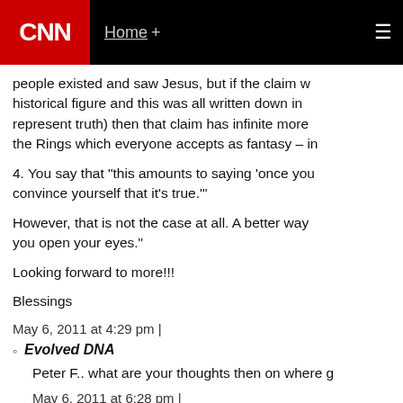CNN Home +
people existed and saw Jesus, but if the claim w historical figure and this was all written down in represent truth) then that claim has infinite more the Rings which everyone accepts as fantasy – in
4. You say that "this amounts to saying 'once you convince yourself that it's true.'"
However, that is not the case at all. A better way you open your eyes."
Looking forward to more!!!
Blessings
May 6, 2011 at 4:29 pm |
Evolved DNA
Peter F.. what are your thoughts then on where g
May 6, 2011 at 6:28 pm |